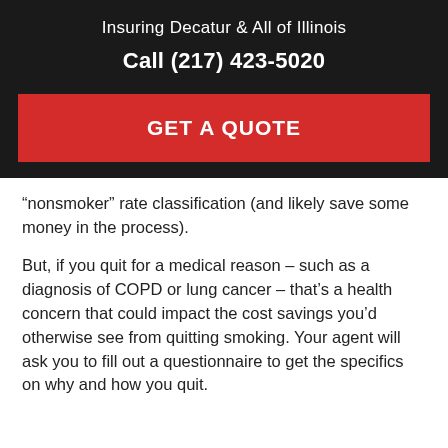Insuring Decatur & All of Illinois
Call (217) 423-5020
[Figure (other): Red GET A QUOTE button]
“nonsmoker” rate classification (and likely save some money in the process).
But, if you quit for a medical reason – such as a diagnosis of COPD or lung cancer – that’s a health concern that could impact the cost savings you’d otherwise see from quitting smoking. Your agent will ask you to fill out a questionnaire to get the specifics on why and how you quit.